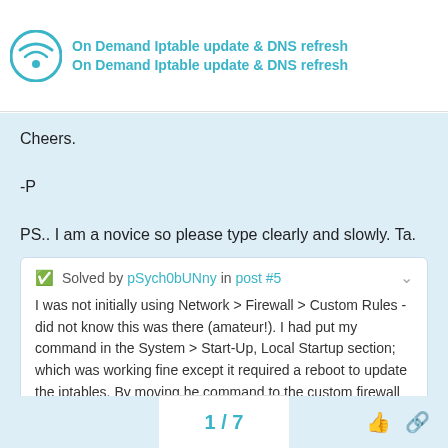On Demand Iptable update & DNS refresh
Cheers.

-P

PS.. I am a novice so please type clearly and slowly. Ta.
✅ Solved by pSych0bUNny in post #5

I was not initially using Network > Firewall > Custom Rules - did not know this was there (amateur!). I had put my command in the System > Start-Up, Local Startup section; which was working fine except it required a reboot to update the iptables. By moving he command to the custom firewall section…
1 / 7